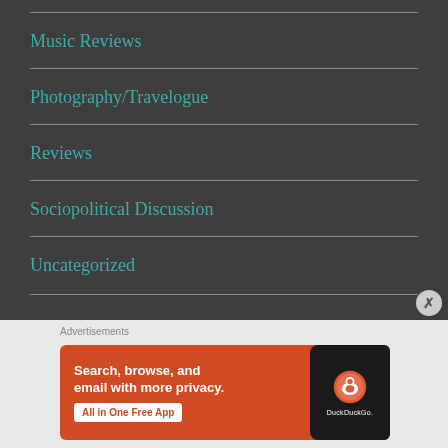Music Reviews
Photography/Travelogue
Reviews
Sociopolitical Discussion
Uncategorized
[Figure (screenshot): DuckDuckGo advertisement banner: 'Search, browse, and email with more privacy. All in One Free App' with DuckDuckGo logo on phone mockup.]